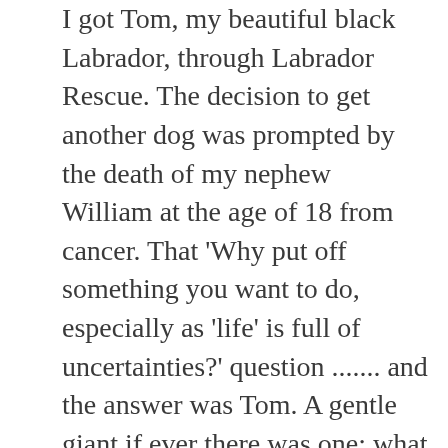I got Tom, my beautiful black Labrador, through Labrador Rescue. The decision to get another dog was prompted by the death of my nephew William at the age of 18 from cancer. That 'Why put off something you want to do, especially as 'life' is full of uncertainties?' question ....... and the answer was Tom. A gentle giant if ever there was one; what he lacked in brain power he made up for with love and affection in spades. His walks were either around the streets in Battersea or across Wandsworth Common, an area of 70 hectares/170 acres of grass, trees, lakes and wild life which lay at the top of the road some 200m away from home. Walking there daily kept me aware of nature's death and decay, of new birth and new growth, the changing seasons and all that they bring. Tom of course loved the 'death' bit and was good at ferreting out a decaying fox's carcass!! Yuk.